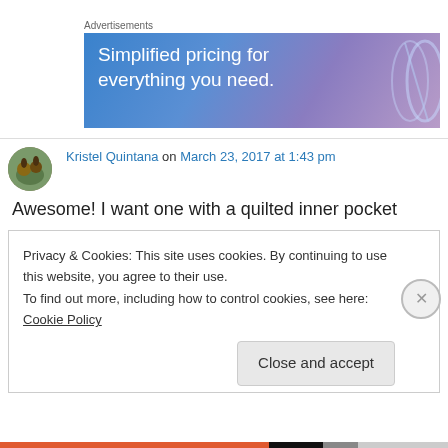Advertisements
[Figure (illustration): Advertisement banner with blue-purple gradient background and text 'Simplified pricing for everything you need.']
Kristel Quintana on March 23, 2017 at 1:43 pm
Awesome! I want one with a quilted inner pocket
Privacy & Cookies: This site uses cookies. By continuing to use this website, you agree to their use. To find out more, including how to control cookies, see here: Cookie Policy
Close and accept